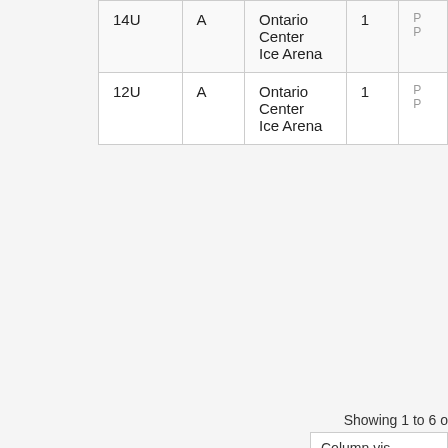| Division | Skill Level | Rink Play out Of | # of |
| --- | --- | --- | --- |
| 14U | A | Ontario Center Ice Arena | 1 |
| 12U | A | Ontario Center Ice Arena | 1 |
Showing 1 to 6 o...
Column vis...
Goldrush Hockey Club (http://www.goldrushhockey.com)
| Division | Skill Level | Rink Play out Of | # of Openings |
| --- | --- | --- | --- |
| 12U | BB | Lake Forest Ice... | 2 |